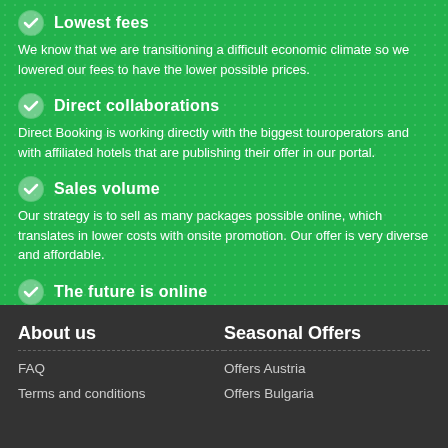Lowest fees
We know that we are transitioning a difficult economic climate so we lowered our fees to have the lower possible prices.
Direct collaborations
Direct Booking is working directly with the biggest touroperators and with affiliated hotels that are publishing their offer in our portal.
Sales volume
Our strategy is to sell as many packages possible online, which translates in lower costs with onsite promotion. Our offer is very diverse and affordable.
The future is online
Direct Booking wants to become the biggest online travel shop from Romania, by connecting the hotel with the tourists and provinding the lowest prices.
About us
Seasonal Offers
FAQ
Offers Austria
Terms and conditions
Offers Bulgaria